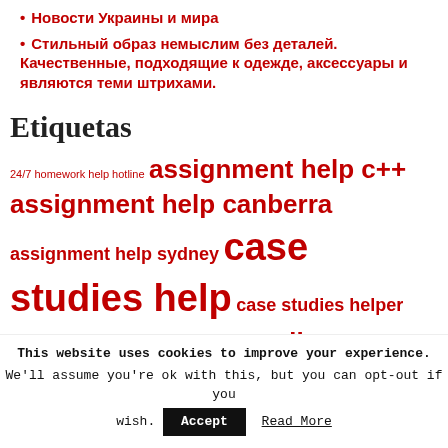Новости Украины и мира
Стильный образ немыслим без деталей. Качественные, подходящие к одежде, аксессуары и являются теми штрихами.
Etiquetas
24/7 homework help hotline  assignment help c++  assignment help canberra  assignment help sydney  case studies help  case studies helper  case studies paper  case studies
This website uses cookies to improve your experience. We'll assume you're ok with this, but you can opt-out if you wish.  Accept  Read More